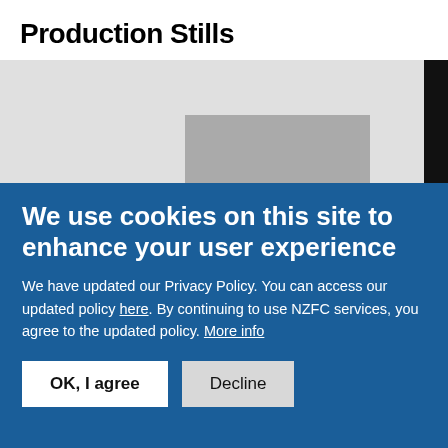Production Stills
[Figure (photo): Placeholder image area with light gray background and a darker gray rectangle in center, with a black vertical bar on the right edge]
We use cookies on this site to enhance your user experience
We have updated our Privacy Policy. You can access our updated policy here. By continuing to use NZFC services, you agree to the updated policy. More info
OK, I agree  Decline